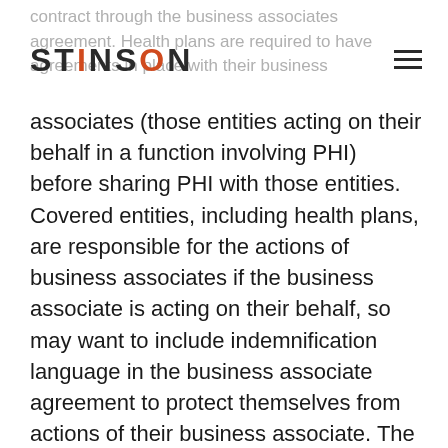contract through the business associates agreement. Health plans are required to have agreements in place with their business
associates (those entities acting on their behalf in a function involving PHI) before sharing PHI with those entities. Covered entities, including health plans, are responsible for the actions of business associates if the business associate is acting on their behalf, so may want to include indemnification language in the business associate agreement to protect themselves from actions of their business associate. The business associate agreement must require that the business associate complies with the HIPAA security rule, execute business associate agreements with their subcontractors, and report breaches of unsecured PHI to the